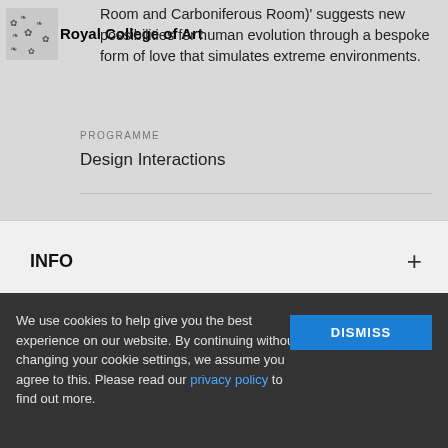Room and Carboniferous Room)' suggests new possibilities for human evolution through a bespoke form of love that simulates extreme environments.
Royal College of Art
PROGRAMME
Design Interactions
INFO
Apply now for January 2023 entry to our Graduate Diploma Art & Design to join a global creative cohort. 🔲
We use cookies to help give you the best experience on our website. By continuing without changing your cookie settings, we assume you agree to this. Please read our privacy policy to find out more.